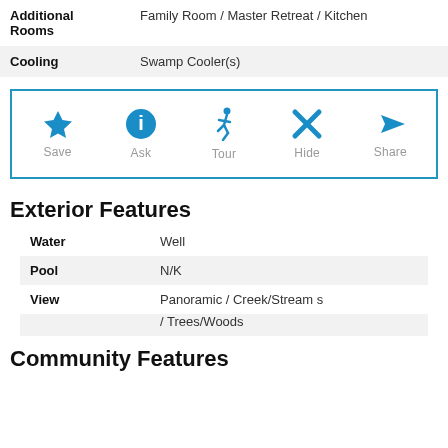| Field | Value |
| --- | --- |
| Additional Rooms | Family Room / Master Retreat / Kitchen |
| Cooling | Swamp Cooler(s) |
[Figure (infographic): Action bar with Save (star icon), Ask (info icon), Tour (walking person icon), Hide (X icon), Share (arrow icon)]
Exterior Features
| Field | Value |
| --- | --- |
| Water | Well |
| Pool | N/K |
| View | Panoramic / Creek/Streams / Trees/Woods |
Community Features